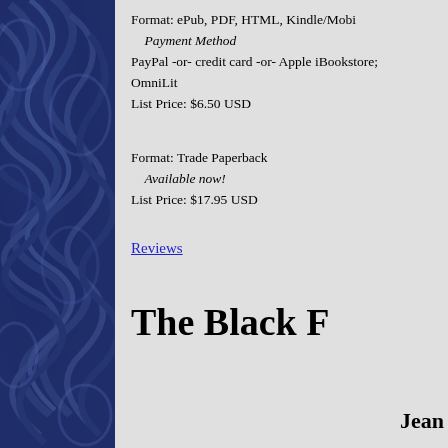Format: ePub, PDF, HTML, Kindle/Mobi
    Payment Method
PayPal -or- credit card -or- Apple iBookstore; OmniLit
List Price: $6.50 USD
Format: Trade Paperback
    Available now!
List Price: $17.95 USD
Reviews
The Black F
Jean